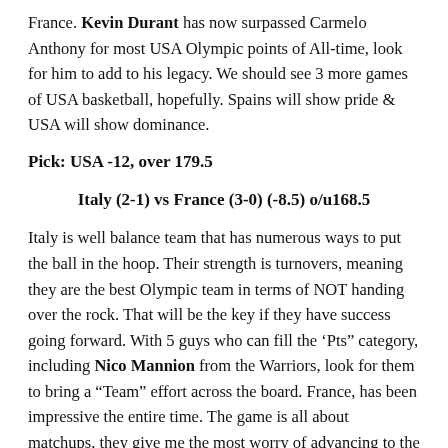France. Kevin Durant has now surpassed Carmelo Anthony for most USA Olympic points of All-time, look for him to add to his legacy. We should see 3 more games of USA basketball, hopefully. Spains will show pride & USA will show dominance.
Pick: USA -12, over 179.5
Italy (2-1) vs France (3-0) (-8.5) o/u168.5
Italy is well balance team that has numerous ways to put the ball in the hoop. Their strength is turnovers, meaning they are the best Olympic team in terms of NOT handing over the rock. That will be the key if they have success going forward. With 5 guys who can fill the 'Pts" category, including Nico Mannion from the Warriors, look for them to bring a "Team" effort across the board. France, has been impressive the entire time. The game is all about matchups, they give me the most worry of advancing to the Final Four. Evan Fournier and Rudy Gobert are my 7th and 8th player coming into the Olympics, they will need both stars to bring their A-game if they want any shot at winning gold. France is a great